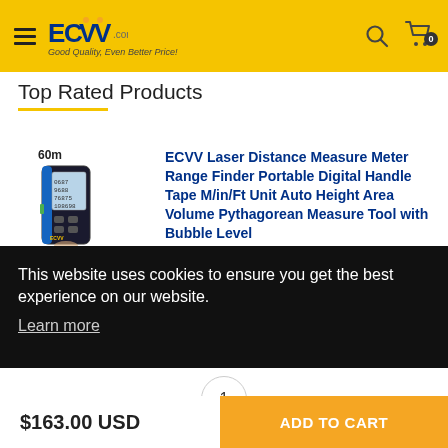ECVV .com.kw Good Quality, Even Better Price!
Top Rated Products
[Figure (photo): ECVV Laser Distance Measure Meter product photo showing black and blue handheld device with label '60m']
ECVV Laser Distance Measure Meter Range Finder Portable Digital Handle Tape M/in/Ft Unit Auto Height Area Volume Pythagorean Measure Tool with Bubble Level
This website uses cookies to ensure you get the best experience on our website. Learn more
1
$163.00 USD
ADD TO CART